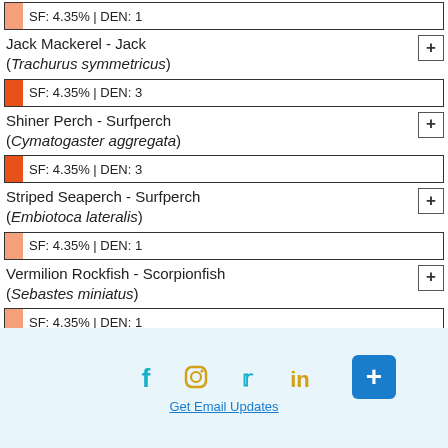SF: 4.35% | DEN: 1
Jack Mackerel - Jack (Trachurus symmetricus)
SF: 4.35% | DEN: 3
Shiner Perch - Surfperch (Cymatogaster aggregata)
SF: 4.35% | DEN: 3
Striped Seaperch - Surfperch (Embiotoca lateralis)
SF: 4.35% | DEN: 1
Vermilion Rockfish - Scorpionfish (Sebastes miniatus)
SF: 4.35% | DEN: 1
Get Email Updates